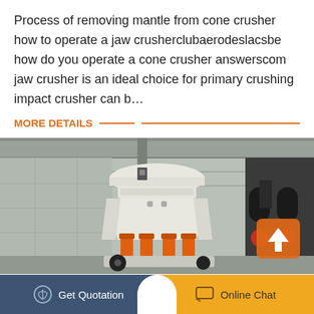Process of removing mantle from cone crusher how to operate a jaw crusherclubaerodeslacsbe how do you operate a cone crusher answerscom jaw crusher is an ideal choice for primary crushing impact crusher can b…
MORE DETAILS
[Figure (photo): A large white cone crusher machine with orange hydraulic components, photographed inside an industrial warehouse. A scroll-to-top orange button overlay appears in the lower right of the image.]
Get Quotation
Online Chat